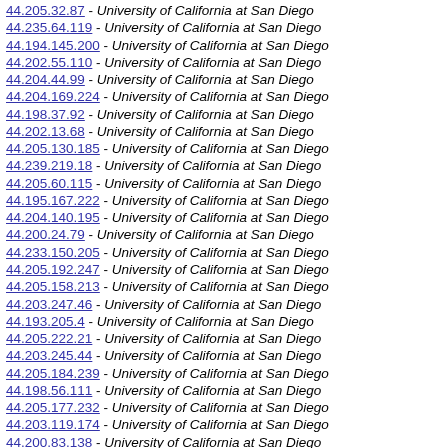44.205.32.87 - University of California at San Diego
44.235.64.119 - University of California at San Diego
44.194.145.200 - University of California at San Diego
44.202.55.110 - University of California at San Diego
44.204.44.99 - University of California at San Diego
44.204.169.224 - University of California at San Diego
44.198.37.92 - University of California at San Diego
44.202.13.68 - University of California at San Diego
44.205.130.185 - University of California at San Diego
44.239.219.18 - University of California at San Diego
44.205.60.115 - University of California at San Diego
44.195.167.222 - University of California at San Diego
44.204.140.195 - University of California at San Diego
44.200.24.79 - University of California at San Diego
44.233.150.205 - University of California at San Diego
44.205.192.247 - University of California at San Diego
44.205.158.213 - University of California at San Diego
44.203.247.46 - University of California at San Diego
44.193.205.4 - University of California at San Diego
44.205.222.21 - University of California at San Diego
44.203.245.44 - University of California at San Diego
44.205.184.239 - University of California at San Diego
44.198.56.111 - University of California at San Diego
44.205.177.232 - University of California at San Diego
44.203.119.174 - University of California at San Diego
44.200.83.138 - University of California at San Diego
44.232.137.192 - University of California at San Diego
44.237.117.172 - University of California at San Diego
44.240.3.58 - University of California at San Diego
44.228.212.11 - University of California at San Diego